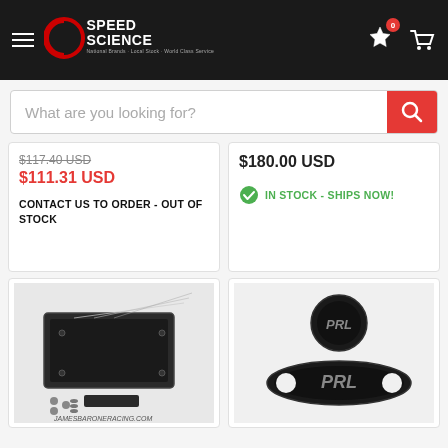[Figure (screenshot): Speed Science e-commerce website screenshot showing navigation header with logo, search bar, and product listings with prices]
Speed Science
What are you looking for?
$117.40 USD (strikethrough) $111.31 USD CONTACT US TO ORDER - OUT OF STOCK
$180.00 USD IN STOCK - SHIPS NOW!
[Figure (photo): Black metal bracket/tray with hardware - James Baron Racing product]
[Figure (photo): PRL branded black billet badge and handle bar product]